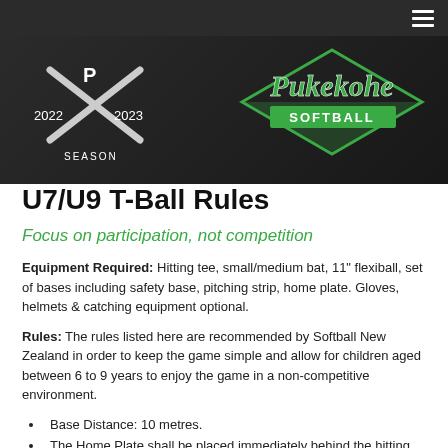Pukekohe Softball 2022/2023 Season
U7/U9 T-Ball Rules
Focus on participation, not competition
Equipment Required: Hitting tee, small/medium bat, 11" flexiball, set of bases including safety base, pitching strip, home plate. Gloves, helmets & catching equipment optional.
Rules: The rules listed here are recommended by Softball New Zealand in order to keep the game simple and allow for children aged between 6 to 9 years to enjoy the game in a non-competitive environment.
Base Distance: 10 metres.
The Home Plate shall be placed immediately behind the hitting